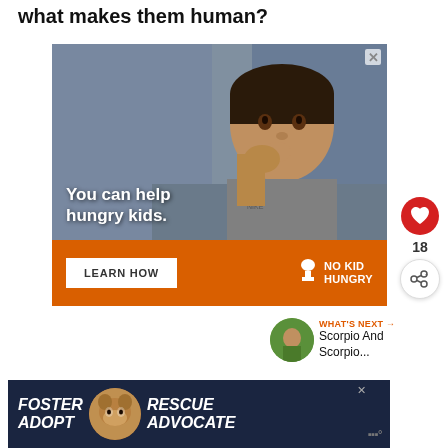what makes them human?
[Figure (photo): Advertisement: 'No Kid Hungry' charity ad showing a young child eating, with text 'You can help hungry kids.' and a 'LEARN HOW' button on an orange background. A close button (X) is in the upper right.]
[Figure (infographic): Heart/like button (red circle with heart icon) with count '18' below it, and a share button below.]
[Figure (infographic): WHAT'S NEXT arrow label with thumbnail image and text 'Scorpio And Scorpio...']
[Figure (photo): Bottom banner advertisement: 'FOSTER ADOPT' on left with dog image, 'RESCUE ADVOCATE' on right, with a close button.]